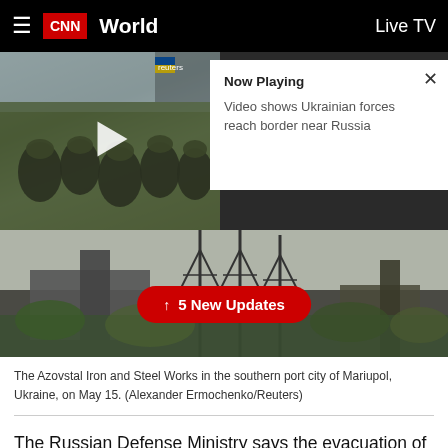CNN World — Live TV
[Figure (screenshot): CNN news screenshot showing a video thumbnail of Ukrainian soldiers and a background photo of the Azovstal Iron and Steel Works industrial plant in Mariupol. A 'Now Playing' card shows 'Video shows Ukrainian forces reach border near Russia'. A red button reads '↑ 5 New Updates'.]
The Azovstal Iron and Steel Works in the southern port city of Mariupol, Ukraine, on May 15. (Alexander Ermochenko/Reuters)
The Russian Defense Ministry says the evacuation of wounded Ukrainian forces from the Azovstal steel works in Mariupol has begun.
Russian network RT has shown video of about 10 to 12 buses leaving the plant. The buses appear to be a